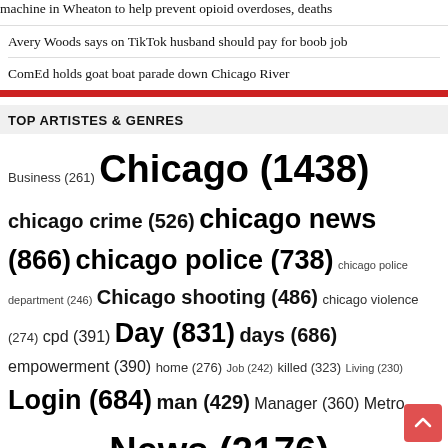machine in Wheaton to help prevent opioid overdoses, deaths
Avery Woods says on TikTok husband should pay for boob job
ComEd holds goat boat parade down Chicago River
TOP ARTISTES & GENRES
Business (261) Chicago (1438) chicago crime (526) chicago news (866) chicago police (738) chicago police department (246) Chicago shooting (486) chicago violence (274) cpd (391) Day (831) days (686) empowerment (390) home (276) Job (242) killed (323) Living (230) Login (684) man (429) Manager (360) Metro (380) mlb (290) News (2176) Opportunities (591) Park (397) Part (257) people (259) Police (756) police department (301) position (546) Sales (276) San (352) Service (236) shooting (594) Shopping (247) shot (311) South (322) Sports (1166) States (1076) SUMMARY (463) team (356) Time (290) United (1080) Walmart (437) You 830ll (422)